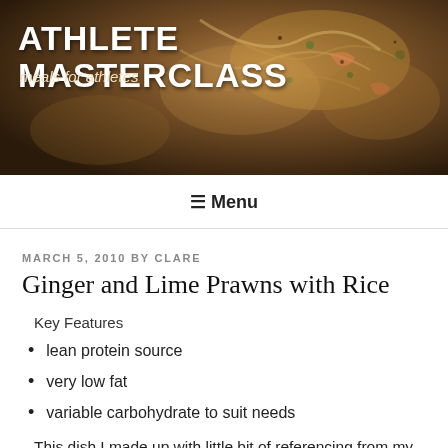[Figure (photo): Food photograph showing pasta dish with prawns, used as website header background image]
ATHLETE MASTERCLASS
meals for athletes
≡ Menu
MARCH 5, 2010 BY CLARE
Ginger and Lime Prawns with Rice
Key Features
lean protein source
very low fat
variable carbohydrate to suit needs
This dish I made up with little bit of referencing from my cookbooks, but essentially because I had some fresh